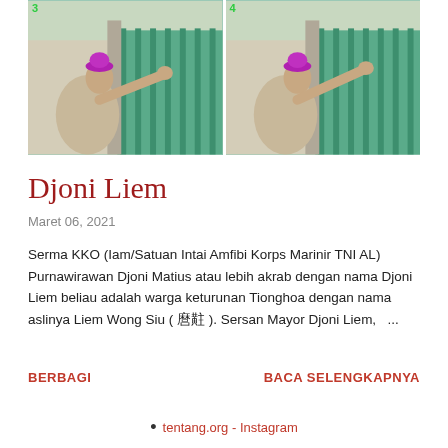[Figure (photo): Two side-by-side photos numbered 3 and 4 showing an elderly man wearing a magenta/purple bishop hat, pointing with his arm extended, standing in front of a green fence/gate]
Djoni Liem
Maret 06, 2021
Serma KKO (Iam/Satuan Intai Amfibi Korps Marinir TNI AL) Purnawirawan Djoni Matius atau lebih akrab dengan nama Djoni Liem beliau adalah warga keturunan Tionghoa dengan nama aslinya Liem Wong Siu ( 🀱🀲🀳 ). Sersan Mayor Djoni Liem,   ...
BERBAGI
BACA SELENGKAPNYA
tentang.org - Instagram